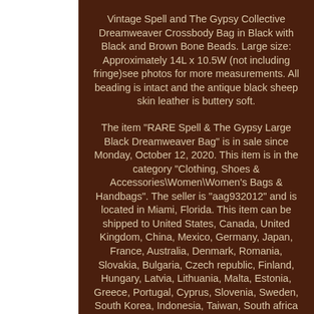Vintage Spell and The Gypsy Collective Dreamweaver Crossbody Bag in Black with Black and Brown Bone Beads. Large size: Approximately 14L x 10.5W (not including fringe)see photos for more measurements. All beading is intact and the antique black sheep skin leather is buttery soft.
The item "RARE Spell & The Gypsy Large Black Dreamweaver Bag" is in sale since Monday, October 12, 2020. This item is in the category "Clothing, Shoes & Accessories\Women\Women's Bags & Handbags". The seller is "aag932012" and is located in Miami, Florida. This item can be shipped to United States, Canada, United Kingdom, China, Mexico, Germany, Japan, France, Australia, Denmark, Romania, Slovakia, Bulgaria, Czech republic, Finland, Hungary, Latvia, Lithuania, Malta, Estonia, Greece, Portugal, Cyprus, Slovenia, Sweden, South Korea, Indonesia, Taiwan, South africa...